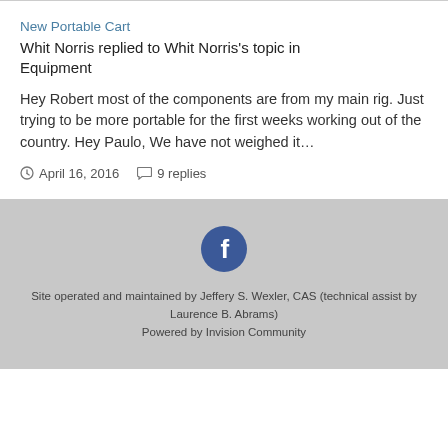New Portable Cart
Whit Norris replied to Whit Norris's topic in Equipment
Hey Robert most of the components are from my main rig. Just trying to be more portable for the first weeks working out of the country. Hey Paulo, We have not weighed it...
April 16, 2016    9 replies
[Figure (logo): Facebook logo icon (white f on dark blue circle)]
Site operated and maintained by Jeffery S. Wexler, CAS (technical assist by Laurence B. Abrams)
Powered by Invision Community